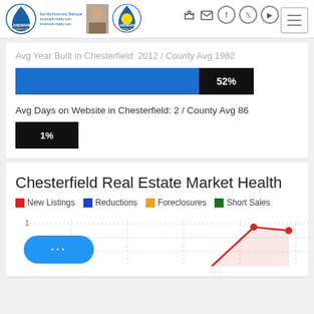Landmark & Landmark Realty header with logo, agent photo, navigation icons
Avg Year Built in Chesterfield: 2012 / County Avg 1982
[Figure (bar-chart): Avg Year Built]
Avg Days on Website in Chesterfield: 2 / County Avg 86
[Figure (bar-chart): Avg Days on Website]
Chesterfield Real Estate Market Health
[Figure (line-chart): Line chart showing New Listings (red), Reductions (blue), Foreclosures (orange), Short Sales (green). Shows a red line with area fill ascending sharply toward the right side of the chart. Y-axis label visible: 1.]